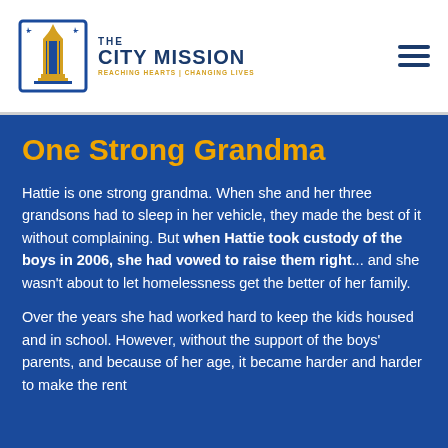[Figure (logo): The City Mission logo with blue torch/building icon and gold/blue text reading THE CITY MISSION REACHING HEARTS CHANGING LIVES]
One Strong Grandma
Hattie is one strong grandma. When she and her three grandsons had to sleep in her vehicle, they made the best of it without complaining. But when Hattie took custody of the boys in 2006, she had vowed to raise them right... and she wasn't about to let homelessness get the better of her family.
Over the years she had worked hard to keep the kids housed and in school. However, without the support of the boys' parents, and because of her age, it became harder and harder to make the rent